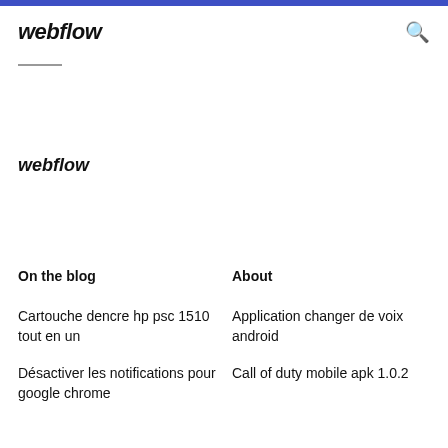webflow
webflow
On the blog
About
Cartouche dencre hp psc 1510 tout en un
Application changer de voix android
Désactiver les notifications pour google chrome
Call of duty mobile apk 1.0.2